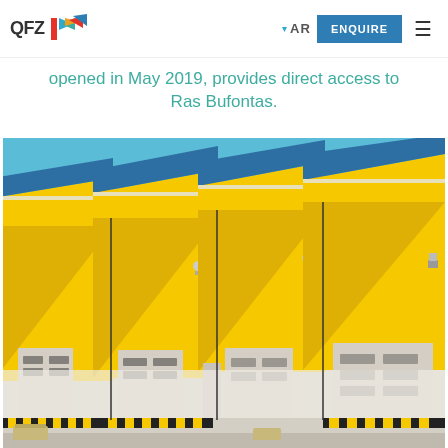QFZ [logo] AR ENQUIRE [menu]
opened in May 2019, provides direct access to Ras Bufontas.
[Figure (photo): Exterior photo of yellow industrial warehouse units with white roller shutter doors, blue roof accents, and clear blue sky background. Multiple loading bay doors visible at ground level.]